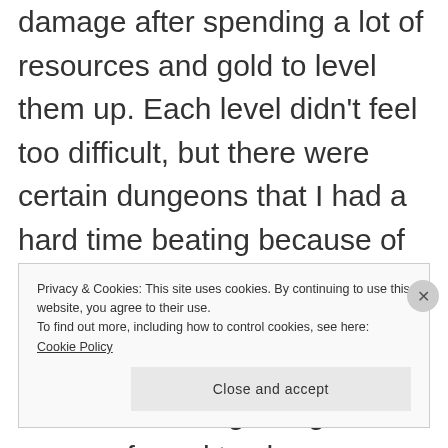damage after spending a lot of resources and gold to level them up. Each level didn't feel too difficult, but there were certain dungeons that I had a hard time beating because of the low level of my team. Gold and items to promote your characters were also pretty limited in the beginning and you are forced to choose which of your characters to level up.
Privacy & Cookies: This site uses cookies. By continuing to use this website, you agree to their use.
To find out more, including how to control cookies, see here:
Cookie Policy
[Close and accept]